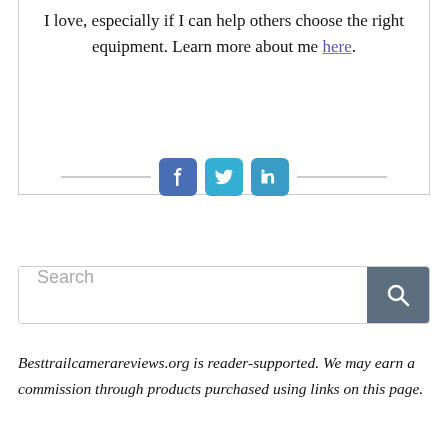I love, especially if I can help others choose the right equipment. Learn more about me here.
[Figure (other): Social media buttons: Facebook, Twitter, LinkedIn with horizontal lines on each side]
[Figure (other): Search bar with text 'Search' and a search icon button on the right]
Besttrailcamerareviews.org is reader-supported. We may earn a commission through products purchased using links on this page.